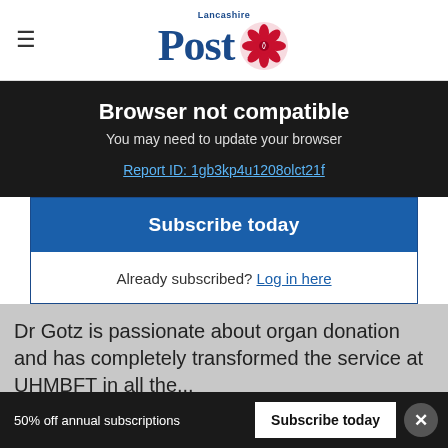Lancashire Post
Browser not compatible
You may need to update your browser
Report ID: 1gb3kp4u1208olct21f
Subscribe today
Already subscribed? Log in here
Dr Gotz is passionate about organ donation and has completely transformed the service at UHMBFT in all the...
50% off annual subscriptions   Subscribe today